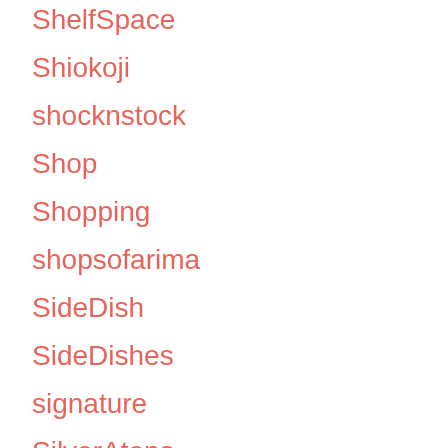ShelfSpace
Shiokoji
shocknstock
Shop
Shopping
shopsofarima
SideDish
SideDishes
signature
SilverAtena
SilverCorner
SilverFlowerVasesForWeddings
SilverGames
SilverVase440
SilverVase440Test